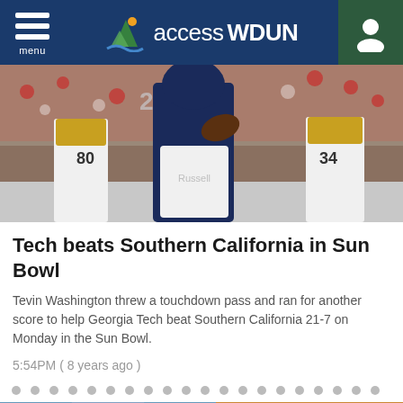menu accessWDUN
[Figure (photo): Football players on field during Sun Bowl game, Georgia Tech player in navy uniform with ball, USC players in white and gold uniforms, crowd in background]
Tech beats Southern California in Sun Bowl
Tevin Washington threw a touchdown pass and ran for another score to help Georgia Tech beat Southern California 21-7 on Monday in the Sun Bowl.
5:54PM ( 8 years ago )
[Figure (other): Dot pagination row with approximately 20 grey dots]
[Figure (map): Partial weather map showing Clermont label, blue sky and cloudy/sunset background]